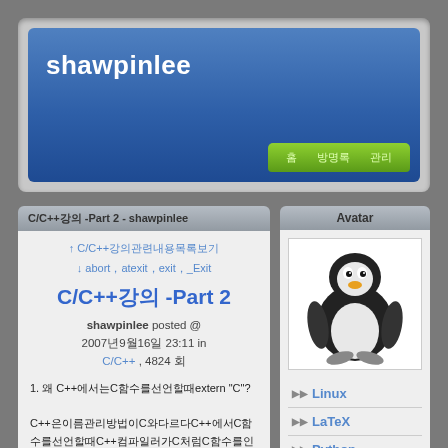shawpinlee
홈 | 방명록 | 관리
C/C++강의 -Part 2 - shawpinlee
↑ C/C++강의관련내용목록보기
↓ abort，atexit，exit，_Exit
C/C++강의 -Part 2
shawpinlee posted @ 2007년9월16일 23:11 in C/C++ , 4824 회
1. 왜 C++에서는C함수를선언할때extern "C"?

C++은이름관리방법이C와다르다C++에서C함수를선언할때C++컴파일러가C처럼C함수를인식하게하려면: void foo(int a, int b); 를C컴파일러가 foo를
Avatar
[Figure (illustration): Linux Tux penguin mascot illustration in black and white]
Linux
LaTeX
Python